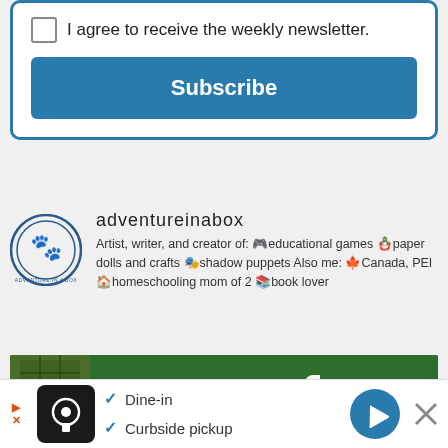I agree to receive the weekly newsletter.
Subscribe
adventureinabox
Artist, writer, and creator of: 🎮educational games 🪆paper dolls and crafts 🎭shadow puppets Also me: 🍁Canada, PEI 🏠homeschooling mom of 2 📚book lover
[Figure (photo): LEGO scene depicting Wizard of Oz characters on a yellow brick road with a hand holding a card reading 'build a scene from a book you enjoy']
Dine-in
Curbside pickup